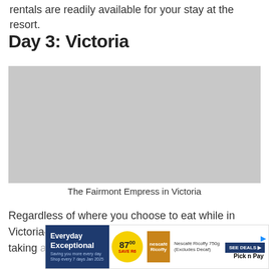rentals are readily available for your stay at the resort.
Day 3: Victoria
[Figure (photo): Photo of The Fairmont Empress hotel in Victoria, BC]
The Fairmont Empress in Victoria
Regardless of where you choose to eat while in Victoria—the capital of B.C.—I strongly suggest taking advan... you
[Figure (other): Advertisement banner: Everyday Exceptional, 87.00 Save R6, Nescafé Ricoffy 750g (Excludes Decaf), SEE DEALS, Pick n Pay]